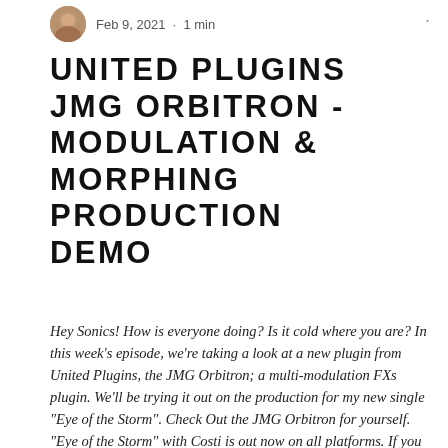Feb 9, 2021 · 1 min
UNITED PLUGINS JMG ORBITRON - MODULATION & MORPHING PRODUCTION DEMO
Hey Sonics! How is everyone doing? Is it cold where you are? In this week's episode, we're taking a look at a new plugin from United Plugins, the JMG Orbitron; a multi-modulation FXs plugin. We'll be trying it out on the production for my new single "Eye of the Storm". Check Out the JMG Orbitron for yourself. "Eye of the Storm" with Costi is out now on all platforms. If you have any questions about the production, feel free to ask in the comments. #tobisonics #electro #sy...